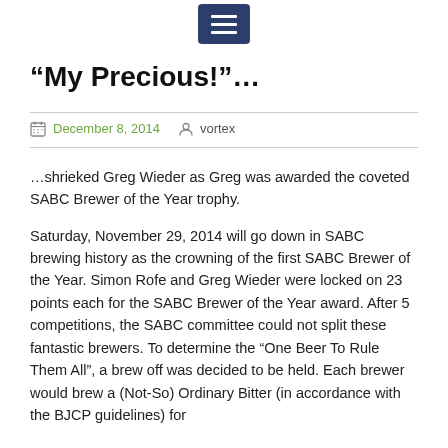[menu icon]
“My Precious!”…
December 8, 2014   vortex
…shrieked Greg Wieder as Greg was awarded the coveted SABC Brewer of the Year trophy.
Saturday, November 29, 2014 will go down in SABC brewing history as the crowning of the first SABC Brewer of the Year. Simon Rofe and Greg Wieder were locked on 23 points each for the SABC Brewer of the Year award. After 5 competitions, the SABC committee could not split these fantastic brewers. To determine the “One Beer To Rule Them All”, a brew off was decided to be held. Each brewer would brew a (Not-So) Ordinary Bitter (in accordance with the BJCP guidelines) for